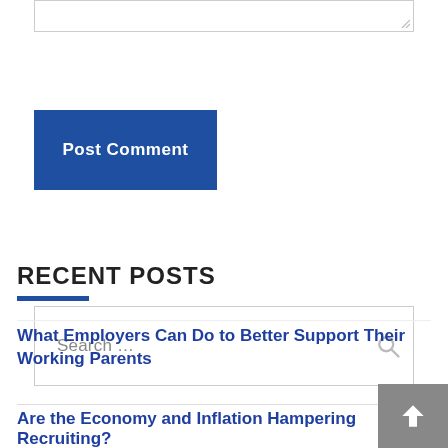[Figure (screenshot): Textarea input box (top portion visible)]
Post Comment
[Figure (screenshot): Search input box with search icon on right]
RECENT POSTS
What Employers Can Do to Better Support Their Working Parents
Are the Economy and Inflation Hampering Recruiting?